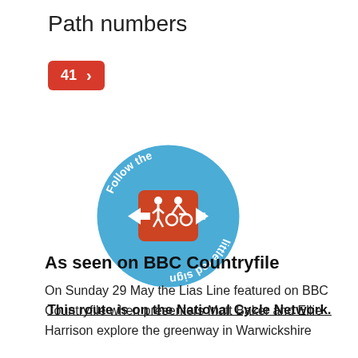Path numbers
[Figure (illustration): Red badge with number 41 and a right-pointing chevron arrow]
[Figure (logo): National Cycle Network circular logo: blue circle with text 'Follow the little red sign' around the edge, central red square with pedestrian and cyclist icons, white arrows pointing left and right]
This route is on the National Cycle Network.
As seen on BBC Countryfile
On Sunday 29 May the Lias Line featured on BBC Countryfile when presenters Matt Baker and Ellie Harrison explore the greenway in Warwickshire